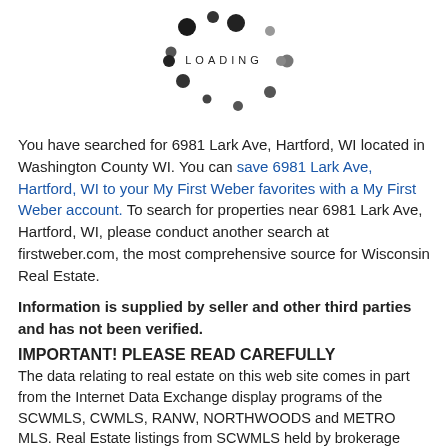[Figure (other): Animated loading spinner graphic with dots arranged in a circle and the word LOADING in the center]
You have searched for 6981 Lark Ave, Hartford, WI located in Washington County WI. You can save 6981 Lark Ave, Hartford, WI to your My First Weber favorites with a My First Weber account. To search for properties near 6981 Lark Ave, Hartford, WI, please conduct another search at firstweber.com, the most comprehensive source for Wisconsin Real Estate.
Information is supplied by seller and other third parties and has not been verified.
IMPORTANT! PLEASE READ CAREFULLY
The data relating to real estate on this web site comes in part from the Internet Data Exchange display programs of the SCWMLS, CWMLS, RANW, NORTHWOODS and METRO MLS. Real Estate listings from SCWMLS held by brokerage firms other than First Weber are marked with the SCWMLS icon and/or include the name of the listing broker. Real Estate listings from CWMLS held